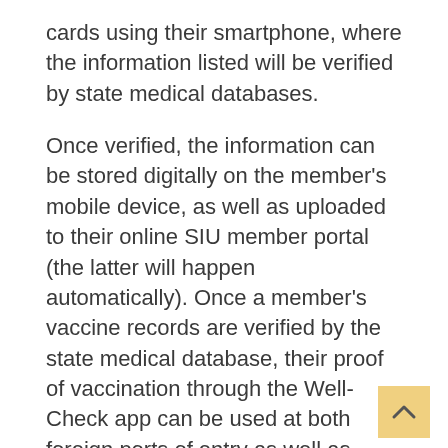cards using their smartphone, where the information listed will be verified by state medical databases.
Once verified, the information can be stored digitally on the member's mobile device, as well as uploaded to their online SIU member portal (the latter will happen automatically). Once a member's vaccine records are verified by the state medical database, their proof of vaccination through the Well- Check app can be used at both foreign ports of entry as well as various events and gatherings which require a verified record.
All members are strongly encouraged